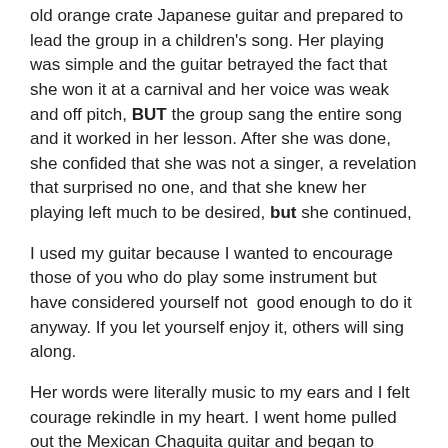old orange crate Japanese guitar and prepared to lead the group in a children's song. Her playing was simple and the guitar betrayed the fact that she won it at a carnival and her voice was weak and off pitch, BUT the group sang the entire song and it worked in her lesson. After she was done, she confided that she was not a singer, a revelation that surprised no one, and that she knew her playing left much to be desired, but she continued,
I used my guitar because I wanted to encourage those of you who do play some instrument but have considered yourself not  good enough to do it anyway. If you let yourself enjoy it, others will sing along.
Her words were literally music to my ears and I felt courage rekindle in my heart. I went home pulled out the Mexican Chaquita guitar and began to practice. As I learned a song, I would use it with children.
When I moved to a new church, I would parle with the youth and have them teach me their music and how to play it. Then I would play in the back ground as they lead singing until I felt I knew the songs well enough to take a